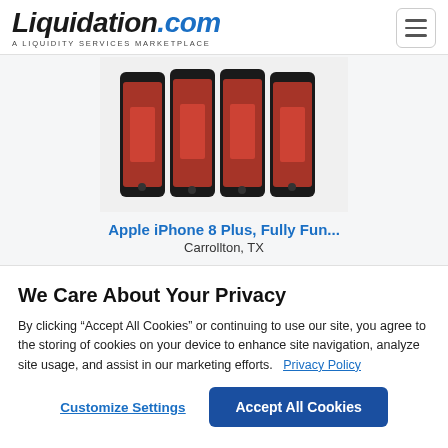Liquidation.com — A LIQUIDITY SERVICES MARKETPLACE
[Figure (photo): Four Apple iPhone 8 Plus smartphones laid side by side displaying orange screens, on a white background.]
Apple iPhone 8 Plus, Fully Fun...
Carrollton, TX
We Care About Your Privacy
By clicking “Accept All Cookies” or continuing to use our site, you agree to the storing of cookies on your device to enhance site navigation, analyze site usage, and assist in our marketing efforts.   Privacy Policy
Customize Settings
Accept All Cookies